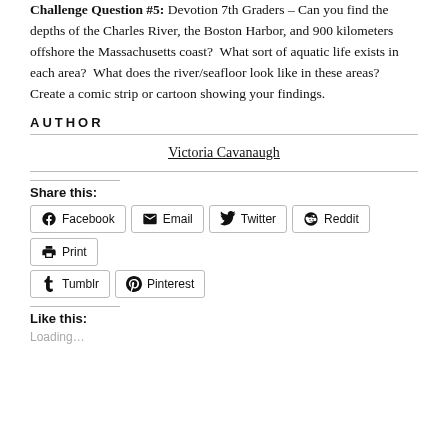Challenge Question #5: Devotion 7th Graders – Can you find the depths of the Charles River, the Boston Harbor, and 900 kilometers offshore the Massachusetts coast?  What sort of aquatic life exists in each area?  What does the river/seafloor look like in these areas?  Create a comic strip or cartoon showing your findings.
AUTHOR
Victoria Cavanaugh
Share this:
Facebook  Email  Twitter  Reddit  Print  Tumblr  Pinterest
Like this:
Loading…